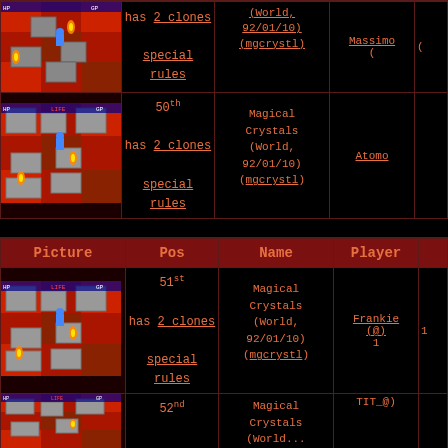| Picture | Pos | Name | Player |  |
| --- | --- | --- | --- | --- |
| [screenshot] | has 2 clones
special rules | (World, 92/01/10)
(mgcrystl) | Massimo... | ( |
| [screenshot] | 50th
has 2 clones
special rules | Magical Crystals
(World, 92/01/10)
(mgcrystl) | Atomo |  |
| Picture | Pos | Name | Player |  |
| --- | --- | --- | --- | --- |
| [screenshot] | 51st
has 2 clones
special rules | Magical Crystals
(World, 92/01/10)
(mgcrystl) | Frankie
(@) | 1 |
| [screenshot] | 52nd | Magical Crystals
(World... | ... |  |